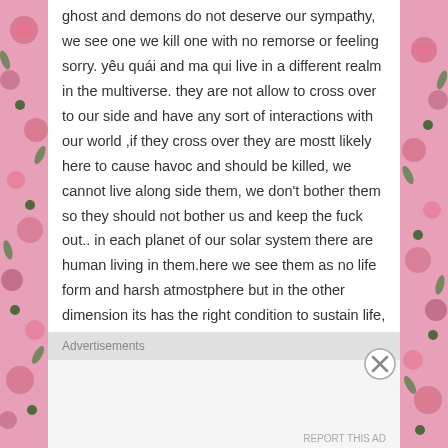ghost and demons do not deserve our sympathy, we see one we kill one with no remorse or feeling sorry. yêu quái and ma qui live in a different realm in the multiverse. they are not allow to cross over to our side and have any sort of interactions with our world ,if they cross over they are mostt likely here to cause havoc and should be killed, we cannot live along side them, we don't bother them so they should not bother us and keep the fuck out.. in each planet of our solar system there are human living in them.here we see them as no life form and harsh atmostphere but in the other dimension its has the right condition to sustain life, just as if they go to earth they will see no life and earth cannot sustain life in their realm. science have theory of
Advertisements